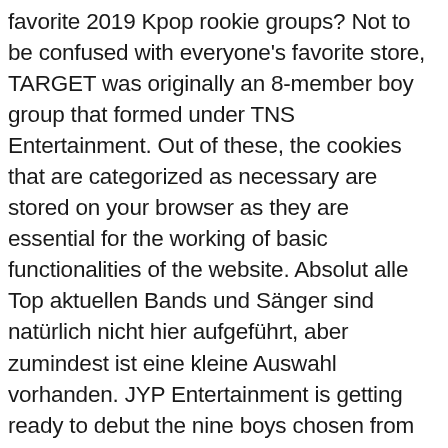favorite 2019 Kpop rookie groups? Not to be confused with everyone's favorite store, TARGET was originally an 8-member boy group that formed under TNS Entertainment. Out of these, the cookies that are categorized as necessary are stored on your browser as they are essential for the working of basic functionalities of the website. Absolut alle Top aktuellen Bands und Sänger sind natürlich nicht hier aufgeführt, aber zumindest ist eine kleine Auswahl vorhanden. JYP Entertainment is getting ready to debut the nine boys chosen from 'Stray Kids' survival show. However, it was announced that they won't be debuting afterall. Around 100 idol groups debut each year in South Korea, aiming to make their way in the K-pop world. At the beginning of 2018, the group made a comeback with their title track 'Bboom Bboom', which became a hit and made Momoland more active in K-pop industry. Read More : UKISS's